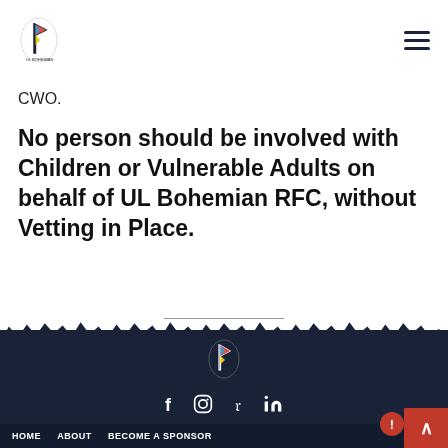[Figure (logo): UL Bohemian RFC logo in header]
CWO.
No person should be involved with Children or Vulnerable Adults on behalf of UL Bohemian RFC, without Vetting in Place.
[Figure (logo): UL Bohemian RFC logo in footer]
HOME   ABOUT   BECOME A SPONSOR